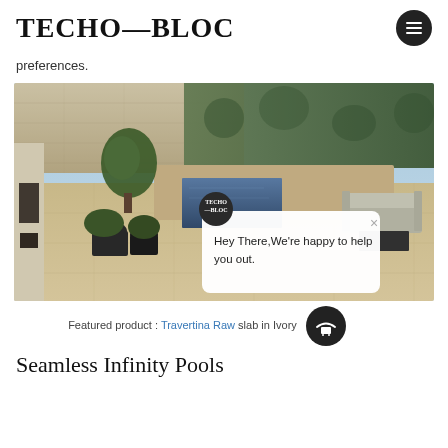TECHO—BLOC
preferences.
[Figure (photo): Outdoor patio area with an infinity pool, potted trees, stone wall, hedge, seating area, and fireplace. A chat widget popup is overlaid reading 'Hey There, We're happy to help you out.' with a Techo-Bloc logo and close button.]
Featured product : Travertina Raw slab in Ivory
Seamless Infinity Pools